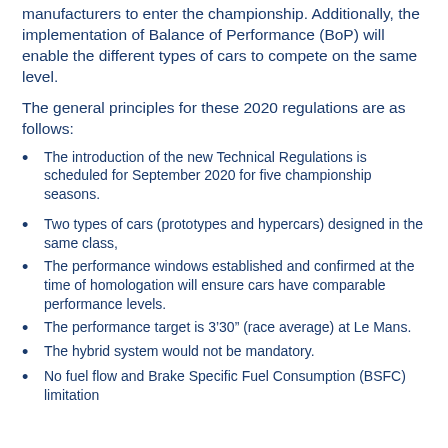manufacturers to enter the championship. Additionally, the implementation of Balance of Performance (BoP) will enable the different types of cars to compete on the same level.
The general principles for these 2020 regulations are as follows:
The introduction of the new Technical Regulations is scheduled for September 2020 for five championship seasons.
Two types of cars (prototypes and hypercars) designed in the same class,
The performance windows established and confirmed at the time of homologation will ensure cars have comparable performance levels.
The performance target is 3'30" (race average) at Le Mans.
The hybrid system would not be mandatory.
No fuel flow and Brake Specific Fuel Consumption (BSFC) limitation